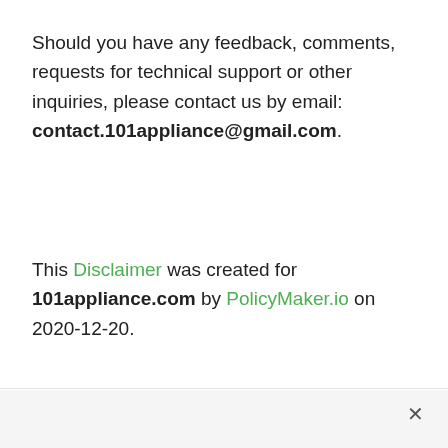Should you have any feedback, comments, requests for technical support or other inquiries, please contact us by email: contact.101appliance@gmail.com.
This Disclaimer was created for 101appliance.com by PolicyMaker.io on 2020-12-20.